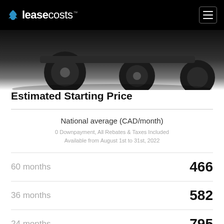leasecosts™
[Figure (photo): Partial underside view of a vehicle showing tires and undercarriage against a dark gradient background]
Estimated Starting Price
|  | National average (CAD/month) |
| --- | --- |
| 0 Downpayment, All Rebates & Taxes Included
Available from August 1st to 31st, 2022 |  |
| 60 months | 466 |
| 36 months | 582 |
| 24 months | 795 |